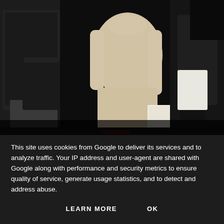[Figure (photo): A photograph of a woman in a beige/cream knit bodycon dress walking outdoors at night, surrounded by other people. The woman is carrying papers in her right hand. Other figures wear dark clothing and carry bags. The background is dark.]
This site uses cookies from Google to deliver its services and to analyze traffic. Your IP address and user-agent are shared with Google along with performance and security metrics to ensure quality of service, generate usage statistics, and to detect and address abuse.
LEARN MORE    OK